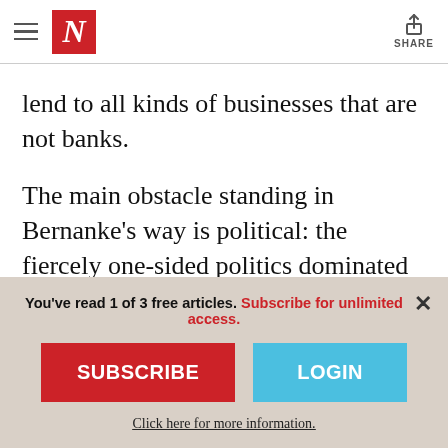The Nation — N logo, hamburger menu, Share button
lend to all kinds of businesses that are not banks.
The main obstacle standing in Bernanke's way is political: the fiercely one-sided politics dominated by conservative Republicans and their patrons in banking, both intent on keeping President Obama from a second
You've read 1 of 3 free articles. Subscribe for unlimited access.
SUBSCRIBE
LOGIN
Click here for more information.